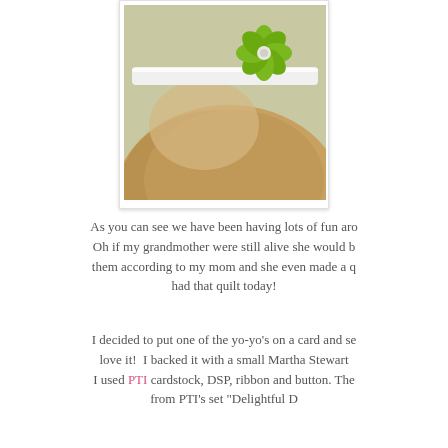[Figure (photo): Close-up photo of a child's head showing a white headband with a green ruffled fabric flower/yo-yo decoration, with light brown hair.]
As you can see we have been having lots of fun aro... Oh if my grandmother were still alive she would b... them according to my mom and she even made a q... had that quilt today!
I decided to put one of the yo-yo's on a card and se... love it!  I backed it with a small Martha Stewart... I used PTI cardstock, DSP, ribbon and button. The... from PTI's set "Delightful D...